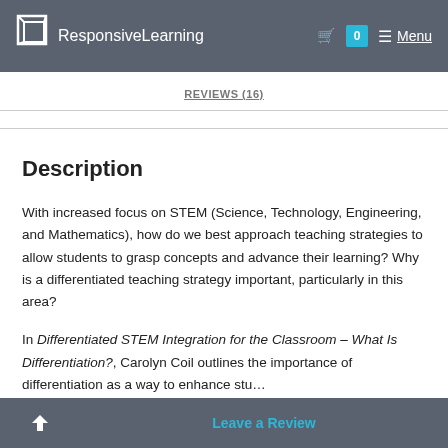ResponsiveLearning — Menu
REVIEWS (16)
Description
With increased focus on STEM (Science, Technology, Engineering, and Mathematics), how do we best approach teaching strategies to allow students to grasp concepts and advance their learning? Why is a differentiated teaching strategy important, particularly in this area?
In Differentiated STEM Integration for the Classroom – What Is Differentiation?, Carolyn Coil outlines the importance of differentiation as a way to enhance stu…